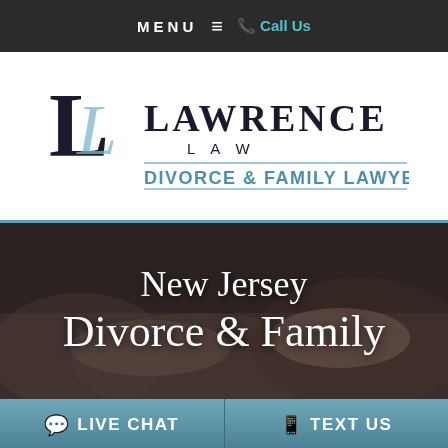MENU ≡ 📞 Call Us
[Figure (logo): Lawrence Law – Divorce & Family Lawyers logo with stylized 'L' monogram and cursive script]
[Figure (photo): Two people at a table signing documents — dimly lit consultation scene with overlay text 'New Jersey Divorce & Family']
💬 LIVE CHAT  |  📱 TEXT US